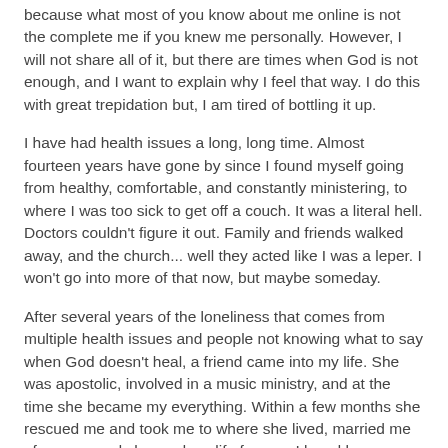because what most of you know about me online is not the complete me if you knew me personally. However, I will not share all of it, but there are times when God is not enough, and I want to explain why I feel that way. I do this with great trepidation but, I am tired of bottling it up.
I have had health issues a long, long time. Almost fourteen years have gone by since I found myself going from healthy, comfortable, and constantly ministering, to where I was too sick to get off a couch. It was a literal hell. Doctors couldn't figure it out. Family and friends walked away, and the church... well they acted like I was a leper. I won't go into more of that now, but maybe someday.
After several years of the loneliness that comes from multiple health issues and people not knowing what to say when God doesn't heal, a friend came into my life. She was apostolic, involved in a music ministry, and at the time she became my everything. Within a few months she rescued me and took me to where she lived, married me of course, and changed my life forever. I loved her children as my own, and for the past several years, they have been my children.